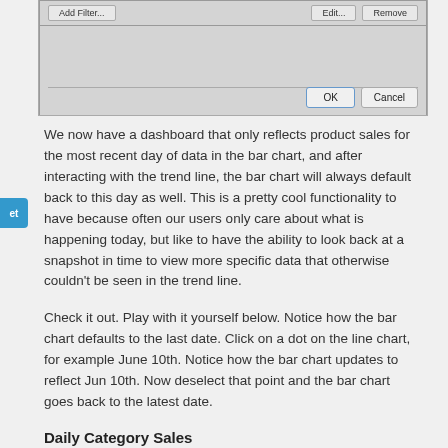[Figure (screenshot): Dialog box with 'Add Filter...', 'Edit...', 'Remove' buttons at top, a divider line, and OK/Cancel buttons at bottom right]
We now have a dashboard that only reflects product sales for the most recent day of data in the bar chart, and after interacting with the trend line, the bar chart will always default back to this day as well. This is a pretty cool functionality to have because often our users only care about what is happening today, but like to have the ability to look back at a snapshot in time to view more specific data that otherwise couldn't be seen in the trend line.
Check it out. Play with it yourself below. Notice how the bar chart defaults to the last date. Click on a dot on the line chart, for example June 10th. Notice how the bar chart updates to reflect Jun 10th. Now deselect that point and the bar chart goes back to the latest date.
Daily Category Sales